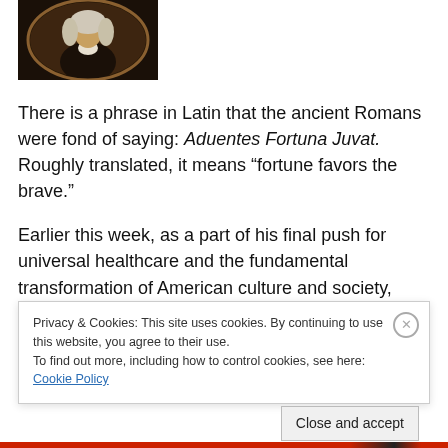[Figure (photo): Historical portrait painting of a figure in period clothing, oval framed against dark background]
There is a phrase in Latin that the ancient Romans were fond of saying: Aduentes Fortuna Juvat.  Roughly translated, it means “fortune favors the brave.”
Earlier this week, as a part of his final push for universal healthcare and the fundamental transformation of American culture and society, President Barrack Obama staged a rally in Ohio attended by scores of his hardcore
Privacy & Cookies: This site uses cookies. By continuing to use this website, you agree to their use.
To find out more, including how to control cookies, see here: Cookie Policy